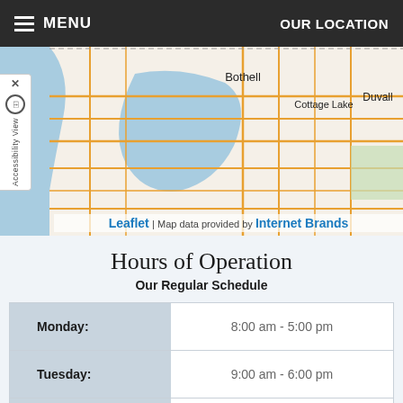MENU  |  OUR LOCATION
[Figure (map): Street map showing Bothell, Cottage Lake, and Duvall area in Washington State. Map attribution: Leaflet | Map data provided by Internet Brands.]
Hours of Operation
Our Regular Schedule
| Day | Hours |
| --- | --- |
| Monday: | 8:00 am - 5:00 pm |
| Tuesday: | 9:00 am - 6:00 pm |
| Wednesday: | 8:00 am - 5:00 pm |